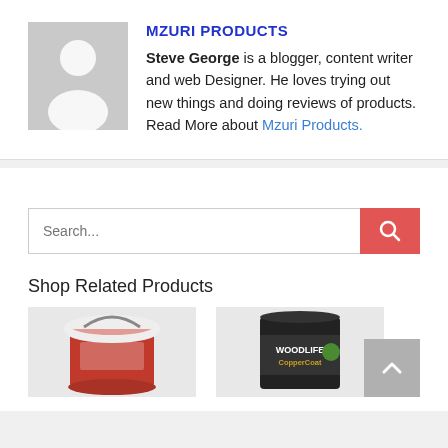MZURI PRODUCTS
Steve George is a blogger, content writer and web Designer. He loves trying out new things and doing reviews of products. Read More about Mzuri Products.
[Figure (other): Search bar with text input and red search button]
Shop Related Products
[Figure (photo): Product image: paint bucket]
[Figure (photo): Product image: Woodlife CopperCoat can]